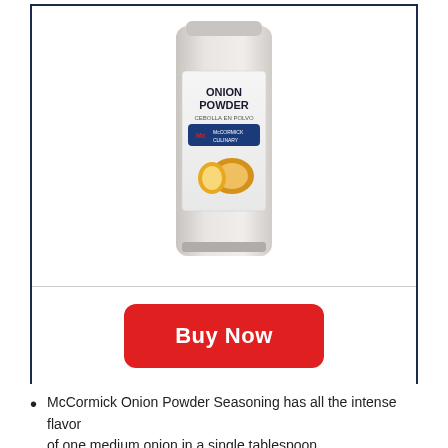[Figure (photo): McCormick Culinary Onion Powder container, white rectangular bottle with label showing 'ONION POWDER / CEBOLLA EN POLVO', McCormick Culinary logo, and image of onions]
Buy Now
McCormick Onion Powder Seasoning has all the intense flavor of one medium onion in a single tablespoon